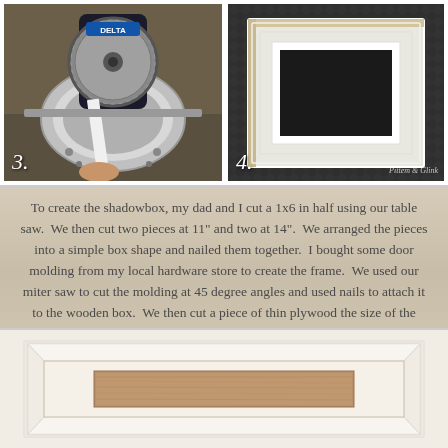[Figure (photo): Step 3: A Delta miter/circular saw cutting a white piece of molding on a concrete floor in a garage workshop setting.]
[Figure (photo): Step 4: A white-painted wooden shadowbox frame with molding on a dark metal diamond-plate surface, showing the assembled frame from above.]
To create the shadowbox, my dad and I cut a 1x6 in half using our table saw.  We then cut two pieces at 11" and two at 14".  We arranged the pieces into a simple box shape and nailed them together.  I bought some door molding from my local hardware store to create the frame.  We used our miter saw to cut the molding at 45 degree angles and used nails to attach it to the wooden box.  We then cut a piece of thin plywood the size of the back of the box.
[Figure (photo): Bottom photo showing a white wooden shadowbox frame with decorative molding borders, viewed from the front, on a light background.]